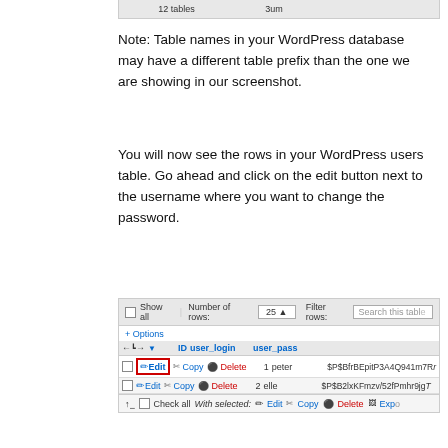[Figure (screenshot): Top portion of a phpMyAdmin table list showing '12 tables' and '3um' columns]
Note: Table names in your WordPress database may have a different table prefix than the one we are showing in our screenshot.
You will now see the rows in your WordPress users table. Go ahead and click on the edit button next to the username where you want to change the password.
[Figure (screenshot): phpMyAdmin interface showing Show all, Number of rows: 25, Filter rows: Search this table toolbar; + Options link; table columns ID, user_login, user_pass; two data rows: 1 peter $P$BfrBEpitP3A4Q941m7R... and 2 elle $P$B2lxKFmzv/52fPmhr9jg...; Edit button on first row highlighted with red border; bottom bar with Check all, With selected: Edit Copy Delete Export]